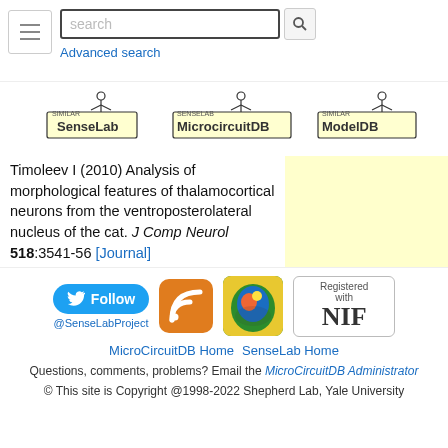search | Advanced search
[Figure (logo): SenseLab logo with stick figure]
[Figure (logo): MicrocircuitDB logo with stick figure]
[Figure (logo): ModelDB logo with stick figure]
Timoleev I (2010) Analysis of morphological features of thalamocortical neurons from the ventroposterolateral nucleus of the cat. J Comp Neurol 518:3541-56 [Journal] [PubMed]
(30 refs)
[Figure (logo): Twitter Follow button and @SenseLabProject handle]
[Figure (logo): RSS feed icon]
[Figure (logo): SfN colorful head logo]
[Figure (logo): Registered with NIF badge]
MicroCircuitDB Home  SenseLab Home
Questions, comments, problems? Email the MicroCircuitDB Administrator
© This site is Copyright @1998-2022 Shepherd Lab, Yale University